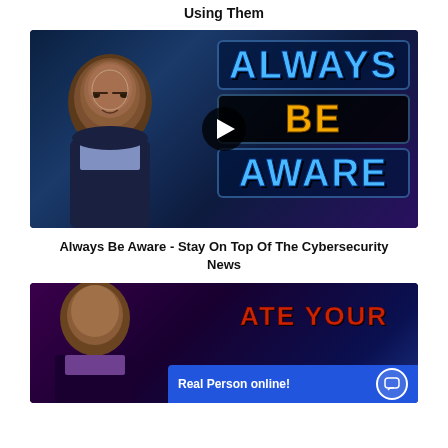Using Them
[Figure (screenshot): Video thumbnail showing a man in a suit with text 'ALWAYS BE AWARE' in large blue and orange letters, with a play button overlay]
Always Be Aware - Stay On Top Of The Cybersecurity News
[Figure (screenshot): Partial video thumbnail showing a man with text 'ATE YOUR' in red, and a 'Real Person online!' chat bar at the bottom]